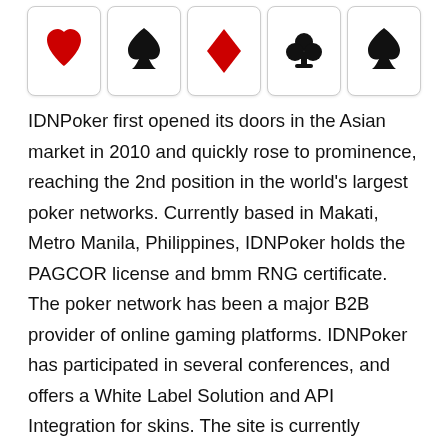[Figure (illustration): Five playing cards in a row showing: red heart, black spade, red diamond, black club, black spade suit symbols]
IDNPoker first opened its doors in the Asian market in 2010 and quickly rose to prominence, reaching the 2nd position in the world's largest poker networks. Currently based in Makati, Metro Manila, Philippines, IDNPoker holds the PAGCOR license and bmm RNG certificate. The poker network has been a major B2B provider of online gaming platforms. IDNPoker has participated in several conferences, and offers a White Label Solution and API Integration for skins. The site is currently operating more than 200 skins in Asia, with over ten thousand concurrent users.
The most popular poker game in Indonesia is texas hold'em. The minimum and maximum number of